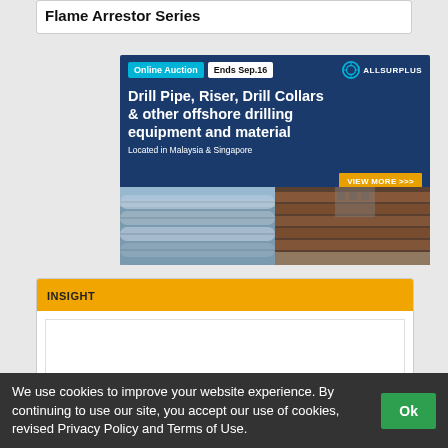Flame Arrestor Series
[Figure (photo): Online auction advertisement for Drill Pipe, Riser, Drill Collars & other offshore drilling equipment and material. Located in Malaysia & Singapore. Ends Sep.16. AllSurplus. VIEW MORE >>>. Shows images of drill pipes and riser equipment.]
INSIGHT
We use cookies to improve your website experience. By continuing to use our site, you accept our use of cookies, revised Privacy Policy and Terms of Use.